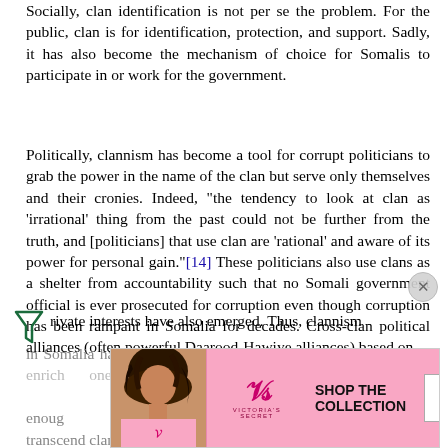Socially, clan identification is not per se the problem. For the public, clan is for identification, protection, and support. Sadly, it has also become the mechanism of choice for Somalis to participate in or work for the government.
Politically, clannism has become a tool for corrupt politicians to grab the power in the name of the clan but serve only themselves and their cronies. Indeed, "the tendency to look at clan as 'irrational' thing from the past could not be further from the truth, and [politicians] that use clan are 'rational' and aware of its power for personal gain."[14] These politicians also use clans as a shelter from accountability such that no Somali government official is ever prosecuted for corruption even though corruption has been rampant in Somalia for decades. Cross-clan political alliances (often powerful Daarood-Hawiye alliances) based on private interests have also emerged. Thus, clannism in Somalia has evolved into a pernicious tool to get power and enrich oneself without ever serving the clans' needs. The challenge is for Somalia to be enough... transcend clan lines and help federalize clans. Thus, a major challenge to any prospect of finishing...
[Figure (advertisement): Victoria's Secret advertisement banner with model photo, VS logo, 'SHOP THE COLLECTION' text, and 'SHOP NOW' button]